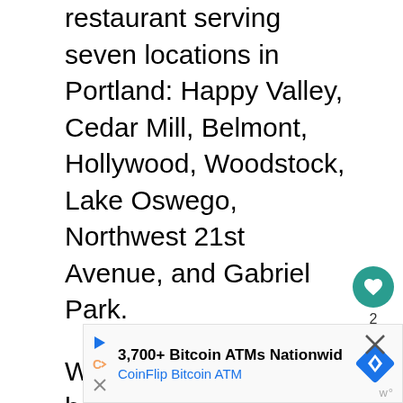restaurant serving seven locations in Portland: Happy Valley, Cedar Mill, Belmont, Hollywood, Woodstock, Lake Oswego, Northwest 21st Avenue, and Gabriel Park.
Whether you want to have a sumptuous repast or eat something just to take the edge off, Laughing Planet has a sizable menu that caters to all different food requirements.
[Figure (screenshot): Advertisement banner for CoinFlip Bitcoin ATM: '3,700+ Bitcoin ATMs Nationwid' with subtitle 'CoinFlip Bitcoin ATM', a diamond-shaped logo, play and close icons, and a watermark.]